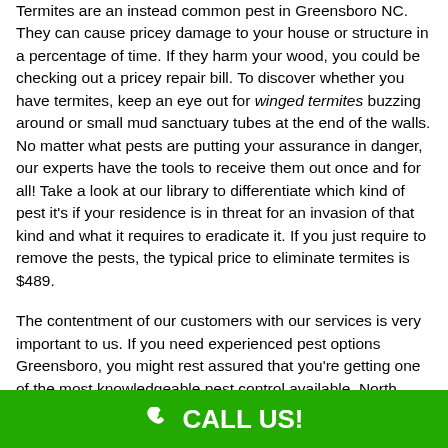Termites are an instead common pest in Greensboro NC. They can cause pricey damage to your house or structure in a percentage of time. If they harm your wood, you could be checking out a pricey repair bill. To discover whether you have termites, keep an eye out for winged termites buzzing around or small mud sanctuary tubes at the end of the walls. No matter what pests are putting your assurance in danger, our experts have the tools to receive them out once and for all! Take a look at our library to differentiate which kind of pest it's if your residence is in threat for an invasion of that kind and what it requires to eradicate it. If you just require to remove the pests, the typical price to eliminate termites is $489.
The contentment of our customers with our services is very important to us. If you need experienced pest options Greensboro, you might rest assured that you're getting one of the most knowledgeable pest control available. North Carolina Pest Services is dedicated to shielding your house, household, and pets. You would like an extermination company Greensboro that recognizes the means to deal with all type of pests. A business that's functioned for numerous of years is going to have more experience
CALL US!